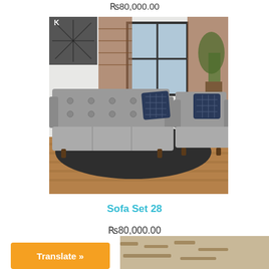₨80,000.00
[Figure (photo): Gray modern sofa set with tufted back and accent pillows in a living room with dark rug and hardwood floors]
Sofa Set 28
₨80,000.00
Translate »